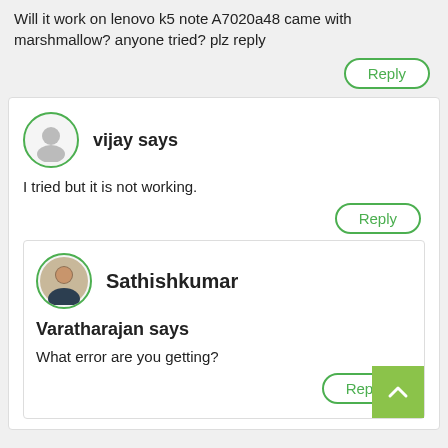Will it work on lenovo k5 note A7020a48 came with marshmallow? anyone tried? plz reply
Reply
vijay says
I tried but it is not working.
Reply
Sathishkumar
Varatharajan says
What error are you getting?
Reply